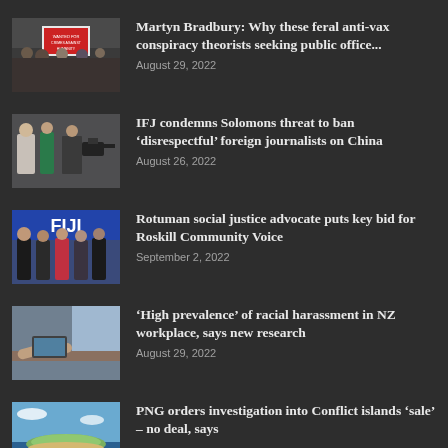[Figure (photo): Protest crowd with a sign reading 'WANTED FOR CRIMES AGAINST HUMANITY']
Martyn Bradbury: Why these feral anti-vax conspiracy theorists seeking public office...
August 29, 2022
[Figure (photo): People gathered indoors, one person holds a microphone or camera]
IFJ condemns Solomons threat to ban ‘disrespectful’ foreign journalists on China
August 26, 2022
[Figure (photo): Group of women standing in front of a FIJI banner]
Rotuman social justice advocate puts key bid for Roskill Community Voice
September 2, 2022
[Figure (photo): Person at a desk, blurred office setting]
‘High prevalence’ of racial harassment in NZ workplace, says new research
August 29, 2022
[Figure (photo): Aerial view of tropical island coastline]
PNG orders investigation into Conflict islands ‘sale’ – no deal, says